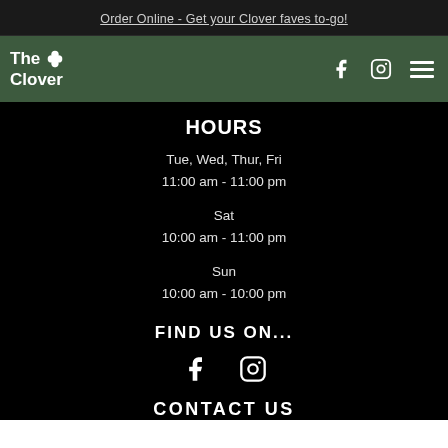Order Online - Get your Clover faves to-go!
[Figure (logo): The Clover restaurant logo with clover icon, plus Facebook, Instagram, and hamburger menu icons on green navigation bar]
HOURS
Tue, Wed, Thur, Fri
11:00 am - 11:00 pm
Sat
10:00 am - 11:00 pm
Sun
10:00 am - 10:00 pm
FIND US ON...
[Figure (illustration): Facebook and Instagram social media icons in white]
CONTACT US